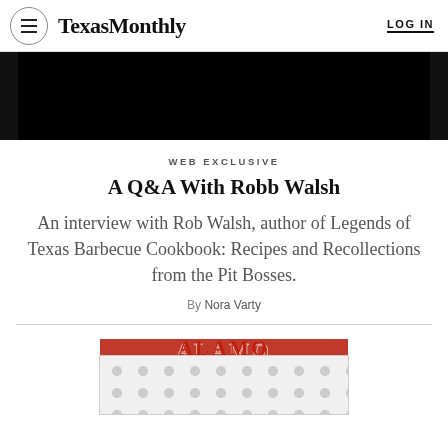Texas Monthly  LOG IN
[Figure (photo): Black hero image area at top of article]
WEB EXCLUSIVE
A Q&A With Robb Walsh
An interview with Rob Walsh, author of Legends of Texas Barbecue Cookbook: Recipes and Recollections from the Pit Bosses.
By Nora Varty
[Figure (photo): Book cover image showing ALAMO text in red letters with subtitle In My Trail From Bait Site]